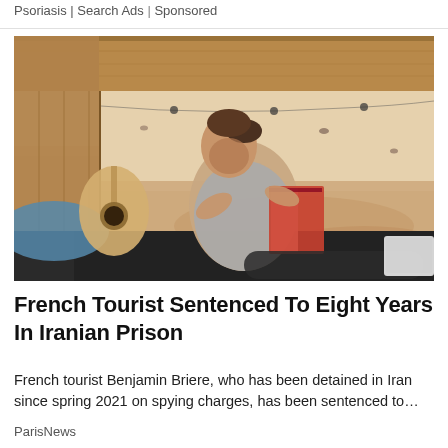Psoriasis | Search Ads | Sponsored
[Figure (photo): A man with long hair tied back sits reading a book inside a van, leaning against luggage and a guitar, with a desert landscape visible through the open van doors behind him.]
French Tourist Sentenced To Eight Years In Iranian Prison
French tourist Benjamin Briere, who has been detained in Iran since spring 2021 on spying charges, has been sentenced to…
ParisNews